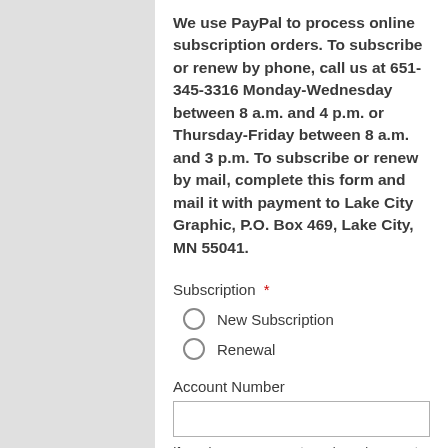We use PayPal to process online subscription orders. To subscribe or renew by phone, call us at 651-345-3316 Monday-Wednesday between 8 a.m. and 4 p.m. or Thursday-Friday between 8 a.m. and 3 p.m. To subscribe or renew by mail, complete this form and mail it with payment to Lake City Graphic, P.O. Box 469, Lake City, MN 55041.
Subscription *
New Subscription
Renewal
Account Number
If you have an account number, please enter it here.
Subscription Options (Choose One) *